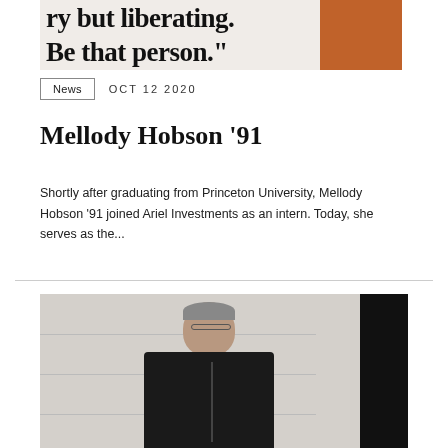[Figure (photo): Partial image showing text 'ry but liberating. Be that person.' with a person wearing orange in the background]
News   OCT 12 2020
Mellody Hobson '91
Shortly after graduating from Princeton University, Mellody Hobson '91 joined Ariel Investments as an intern. Today, she serves as the...
[Figure (photo): Man wearing glasses and a black jacket standing against a white wall with a dark panel on the right]